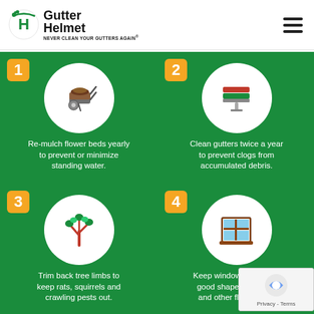Gutter Helmet — NEVER CLEAN YOUR GUTTERS AGAIN
[Figure (infographic): Four-panel green infographic with numbered tips: 1) Re-mulch flower beds yearly to prevent or minimize standing water. (wheelbarrow icon) 2) Clean gutters twice a year to prevent clogs from accumulated debris. (paint roller/gutter icon) 3) Trim back tree limbs to keep rats, squirrels and crawling pests out. (tree branch icon) 4) Keep window screens in good shape to keep in and other flying pests. (window screen icon)]